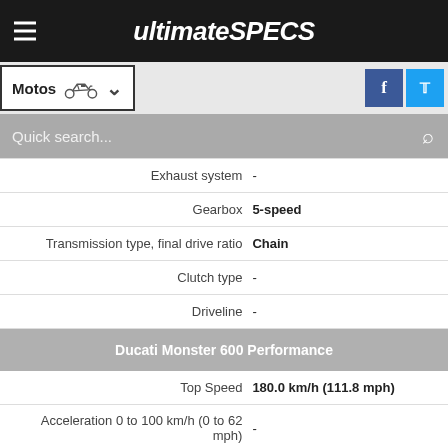ultimateSPECS
[Figure (screenshot): Navigation bar with Motos category selector and social media buttons (Facebook, Twitter)]
[Figure (screenshot): Quick search bar with search icon]
| Label | Value |
| --- | --- |
| Exhaust system | - |
| Gearbox | 5-speed |
| Transmission type, final drive ratio | Chain |
| Clutch type | - |
| Driveline | - |
Ducati Monster 600 Performance
| Label | Value |
| --- | --- |
| Top Speed | 180.0 km/h (111.8 mph) |
| Acceleration 0 to 100 km/h (0 to 62 mph) | - |
| Acceleration 0 to 400m (1/4 mile) | - |
| Recuperation 60 to 140 km/h in highest gear | - |
| Fuel Consumption - MPG - Economy | - |